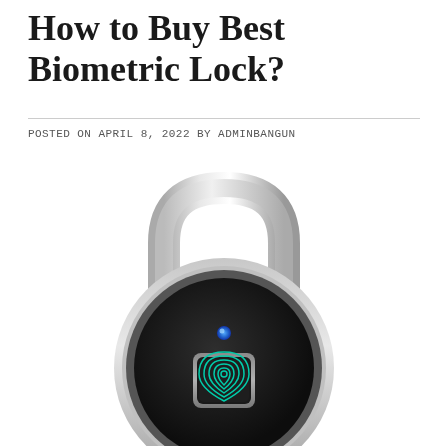How to Buy Best Biometric Lock?
POSTED ON APRIL 8, 2022 BY ADMINBANGUN
[Figure (photo): A modern biometric fingerprint padlock with a silver shackle on top, a round black body with a silver rim, a blue LED indicator light, and a teal fingerprint sensor pad in the center.]